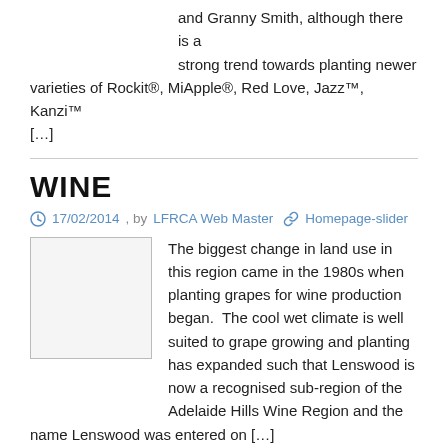and Granny Smith, although there is a strong trend towards planting newer varieties of Rockit®, MiApple®, Red Love, Jazz™, Kanzi™ […]
WINE
17/02/2014 , by LFRCA Web Master   Homepage-slider
[Figure (photo): Placeholder image box (white/light gray rectangle with border)]
The biggest change in land use in this region came in the 1980s when planting grapes for wine production began.  The cool wet climate is well suited to grape growing and planting has expanded such that Lenswood is now a recognised sub-region of the Adelaide Hills Wine Region and the name Lenswood was entered on […]